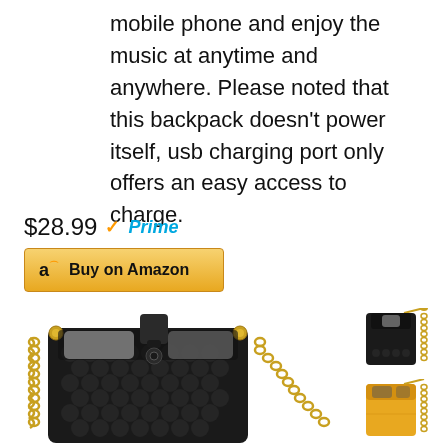mobile phone and enjoy the music at anytime and anywhere. Please noted that this backpack doesn't power itself, usb charging port only offers an easy access to charge.
$28.99 Prime
Buy on Amazon
[Figure (photo): Black leather crossbody phone bag with gold chain strap and snap closure, shown from front with two phone compartments visible]
[Figure (photo): Thumbnail of black crossbody phone bag from back/side with gold chain]
[Figure (photo): Thumbnail of yellow crossbody phone bag with gold chain]